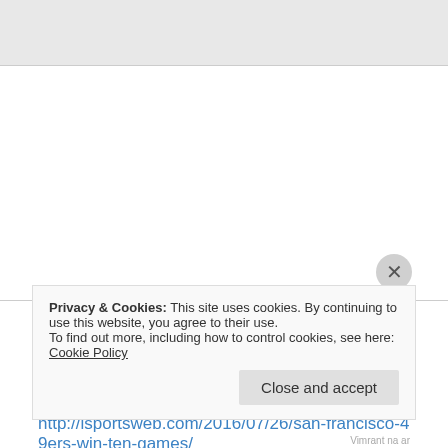[Figure (other): Gray header bar at top of page (browser/website UI element)]
unca_chuck on July 27, 2016 at 9:45 am
And now for something really outlandish . . .
http://isportsweb.com/2016/07/26/san-francisco-49ers-win-ten-games/
Privacy & Cookies: This site uses cookies. By continuing to use this website, you agree to their use.
To find out more, including how to control cookies, see here: Cookie Policy
Close and accept